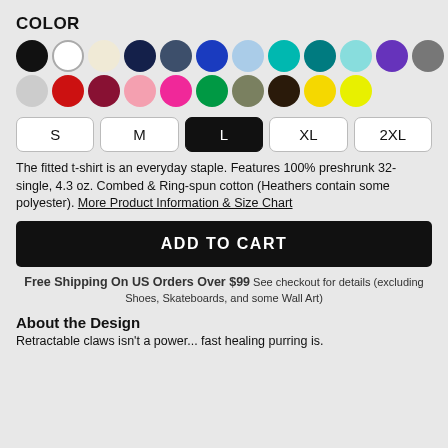COLOR
[Figure (other): Color swatches: two rows of colored circles for t-shirt color selection. Row 1: black, white (outlined), cream, navy, dark slate, blue, light blue, teal, dark teal, light teal, purple, gray, light gray-brown. Row 2: light gray, red, dark red/maroon, pink, hot pink, green, olive, dark brown/black, yellow, bright yellow.]
S  M  L  XL  2XL (size buttons, L selected)
The fitted t-shirt is an everyday staple. Features 100% preshrunk 32-single, 4.3 oz. Combed & Ring-spun cotton (Heathers contain some polyester). More Product Information & Size Chart
ADD TO CART
Free Shipping On US Orders Over $99 See checkout for details (excluding Shoes, Skateboards, and some Wall Art)
About the Design
Retractable claws isn't a power... fast healing purring is.